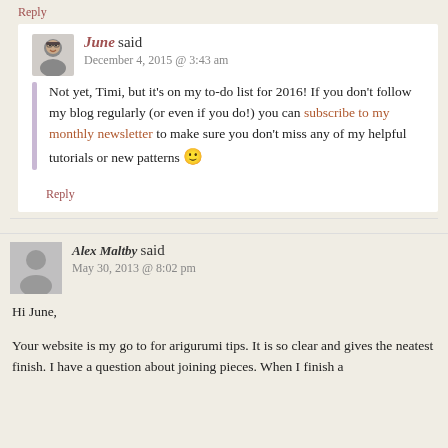Reply
June said
December 4, 2015 @ 3:43 am
Not yet, Timi, but it's on my to-do list for 2016! If you don't follow my blog regularly (or even if you do!) you can subscribe to my monthly newsletter to make sure you don't miss any of my helpful tutorials or new patterns 🙂
Reply
Alex Maltby said
May 30, 2013 @ 8:02 pm
Hi June,

Your website is my go to for arigurumi tips. It is so clear and gives the neatest finish. I have a question about joining pieces. When I finish a